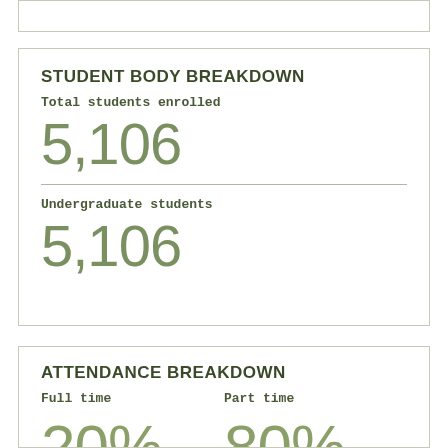STUDENT BODY BREAKDOWN
Total students enrolled
5,106
Undergraduate students
5,106
ATTENDANCE BREAKDOWN
Full time
Part time
20%
80%